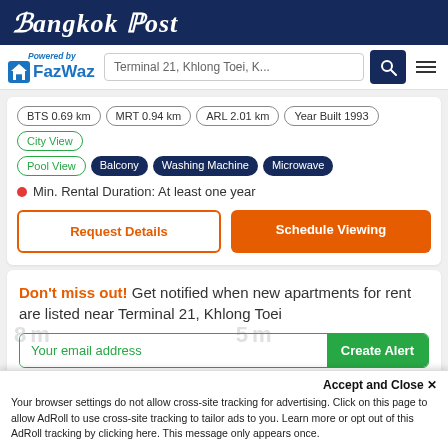Bangkok Post
[Figure (logo): FazWaz logo with 'Powered by' text and house icon]
Terminal 21, Khlong Toei, K...
BTS 0.69 km
MRT 0.94 km
ARL 2.01 km
Year Built 1993
City View
Pool View
Balcony
Washing Machine
Microwave
Min. Rental Duration: At least one year
Request Details
Schedule Viewing
Don't miss out! Get notified when new apartments for rent are listed near Terminal 21, Khlong Toei
Your email address
Create Alert
Accept and Close ✕
Your browser settings do not allow cross-site tracking for advertising. Click on this page to allow AdRoll to use cross-site tracking to tailor ads to you. Learn more or opt out of this AdRoll tracking by clicking here. This message only appears once.